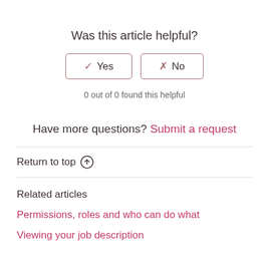Was this article helpful?
✓ Yes   ✗ No
0 out of 0 found this helpful
Have more questions? Submit a request
Return to top ↑
Related articles
Permissions, roles and who can do what
Viewing your job description